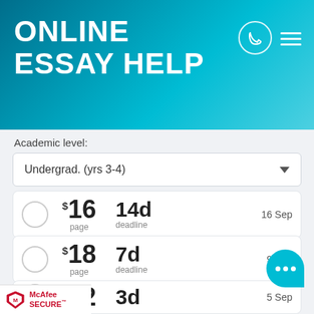ONLINE ESSAY HELP
Academic level:
Undergrad. (yrs 3-4)
|  | Price | Deadline | Date |
| --- | --- | --- | --- |
| ○ | $16 / page | 14d deadline | 16 Sep |
| ○ | $18 / page | 7d deadline | 9 Sep |
| ○ | $19 / page | 5d deadline | 7 Sep |
| ○ | $22 / page | 3d deadline | 5 Sep |
[Figure (logo): McAfee SECURE logo with shield icon]